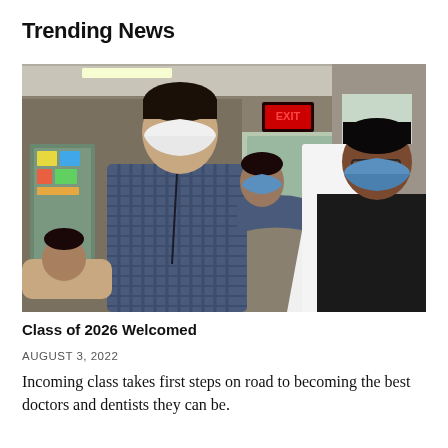Trending News
[Figure (photo): A medical student in a checked shirt and white N95 mask is being helped into a white coat by a woman in a blue surgical mask and dark top. Another masked woman stands in the background. The scene takes place in a medical school or hospital setting with an EXIT sign visible in the background.]
Class of 2026 Welcomed
AUGUST 3, 2022
Incoming class takes first steps on road to becoming the best doctors and dentists they can be.